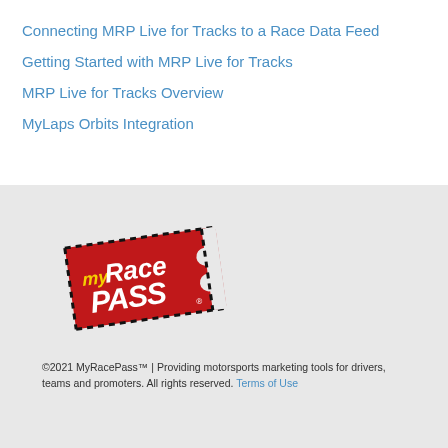Connecting MRP Live for Tracks to a Race Data Feed
Getting Started with MRP Live for Tracks
MRP Live for Tracks Overview
MyLaps Orbits Integration
[Figure (logo): MyRacePass logo — red ticket shape with black dashed border, yellow 'my' text, white 'Race PASS' text, notched right side]
©2021 MyRacePass™ | Providing motorsports marketing tools for drivers, teams and promoters. All rights reserved. Terms of Use